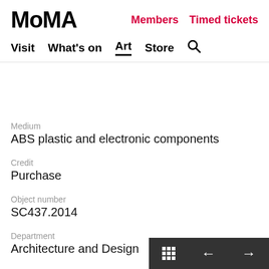MoMA | Members | Timed tickets
Visit | What's on | Art | Store | Search
Medium
ABS plastic and electronic components
Credit
Purchase
Object number
SC437.2014
Department
Architecture and Design